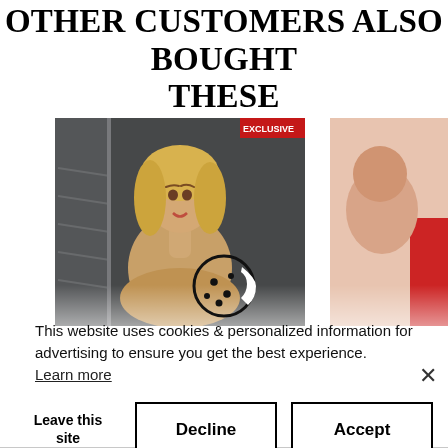OTHER CUSTOMERS ALSO BOUGHT THESE
[Figure (photo): Partial view of a blonde woman in a room with stairs, partially cut off by modal dialog]
[Figure (photo): Partial image of another product/person, pink/red hue, partially cut off on right edge]
[Figure (other): Cookie consent modal dialog with cookie icon, text about cookies and personalized information, and three buttons: Leave this site, Decline, Accept]
This website uses cookies & personalized information for advertising to ensure you get the best experience.
Learn more